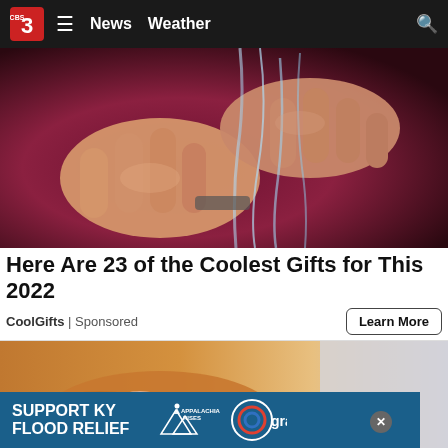News  Weather
[Figure (photo): Close-up of hands being washed under running water, dark purple/maroon background]
Here Are 23 of the Coolest Gifts for This 2022
CoolGifts | Sponsored
[Figure (photo): Person in orange top, hands crossed over stomach area]
[Figure (infographic): SUPPORT KY FLOOD RELIEF banner with Appalachia Rises and Gray logos]